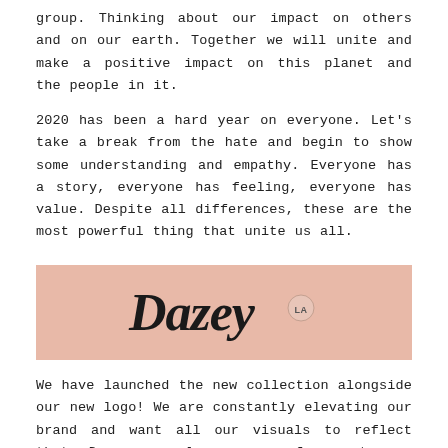group. Thinking about our impact on others and on our earth. Together we will unite and make a positive impact on this planet and the people in it.
2020 has been a hard year on everyone. Let's take a break from the hate and begin to show some understanding and empathy. Everyone has a story, everyone has feeling, everyone has value. Despite all differences, these are the most powerful thing that unite us all.
[Figure (logo): Dazey LA logo in cursive/script handwritten font on a pink/salmon background color swatch]
We have launched the new collection alongside our new logo! We are constantly elevating our brand and want all our visuals to reflect that. Dazey was always a way for me to use clothing as a canvas, but